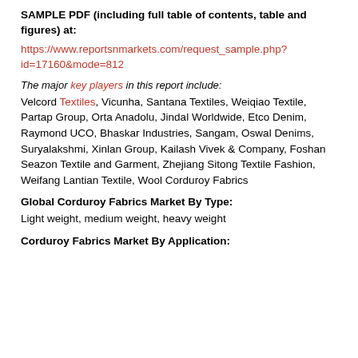SAMPLE PDF (including full table of contents, table and figures) at:
https://www.reportsnmarkets.com/request_sample.php?id=17160&mode=812
The major key players in this report include:
Velcord Textiles, Vicunha, Santana Textiles, Weiqiao Textile, Partap Group, Orta Anadolu, Jindal Worldwide, Etco Denim, Raymond UCO, Bhaskar Industries, Sangam, Oswal Denims, Suryalakshmi, Xinlan Group, Kailash Vivek & Company, Foshan Seazon Textile and Garment, Zhejiang Sitong Textile Fashion, Weifang Lantian Textile, Wool Corduroy Fabrics
Global Corduroy Fabrics Market By Type:
Light weight, medium weight, heavy weight
Corduroy Fabrics Market By Application: